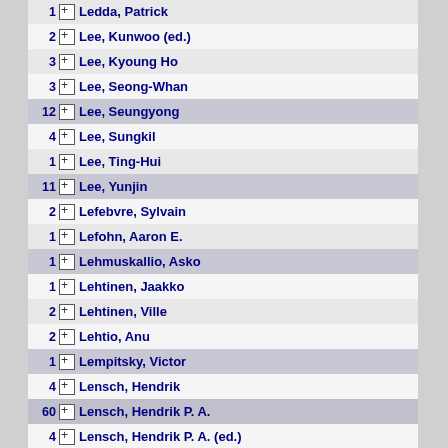1 Ledda, Patrick
2 Lee, Kunwoo (ed.)
3 Lee, Kyoung Ho
3 Lee, Seong-Whan
12 Lee, Seungyong
4 Lee, Sungkil
1 Lee, Ting-Hui
11 Lee, Yunjin
2 Lefebvre, Sylvain
1 Lefohn, Aaron E.
1 Lehmuskallio, Asko
1 Lehtinen, Jaakko
2 Lehtinen, Ville
2 Lehtio, Anu
1 Lempitsky, Victor
4 Lensch, Hendrik
60 Lensch, Hendrik P. A.
4 Lensch, Hendrik P. A. (ed.)
1 Lensch, Hendrik P.A.
1 Lensch, Hendrik P.A. (ed.)
1 Leonarids, Ales (ed.)
1 Leon, Diannee